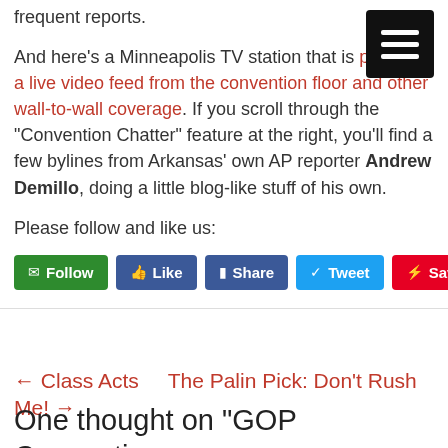frequent reports.
And here’s a Minneapolis TV station that is providing a live video feed from the convention floor and other wall-to-wall coverage. If you scroll through the “Convention Chatter” feature at the right, you’ll find a few bylines from Arkansas’ own AP reporter Andrew Demillo, doing a little blog-like stuff of his own.
Please follow and like us:
[Figure (other): Social sharing buttons: Follow (green), Like (Facebook blue), Share (Facebook blue), Tweet (Twitter blue), Save (Pinterest red)]
← Class Acts   The Palin Pick: Don’t Rush Me! →
One thought on “GOP Convention: